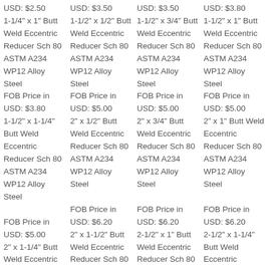USD: $2.50 | 1-1/4" x 1" Butt Weld Eccentric Reducer Sch 80 ASTM A234 WP12 Alloy Steel | FOB Price in USD: $2.50
USD: $3.50 | 1-1/2" x 1/2" Butt Weld Eccentric Reducer Sch 80 ASTM A234 WP12 Alloy Steel | FOB Price in USD: $3.50
USD: $3.50 | 1-1/2" x 3/4" Butt Weld Eccentric Reducer Sch 80 ASTM A234 WP12 Alloy Steel | FOB Price in USD: $3.50
USD: $3.80 | 1-1/2" x 1" Butt Weld Eccentric Reducer Sch 80 ASTM A234 WP12 Alloy Steel | FOB Price in USD: $3.80
USD: $3.80 | 1-1/2" x 1-1/4" Butt Weld Eccentric Reducer Sch 80 ASTM A234 WP12 Alloy Steel | FOB Price in USD: $3.80
USD: $5.00 | 2" x 1/2" Butt Weld Eccentric Reducer Sch 80 ASTM A234 WP12 Alloy Steel | FOB Price in USD: $5.00
USD: $5.00 | 2" x 3/4" Butt Weld Eccentric Reducer Sch 80 ASTM A234 WP12 Alloy Steel | FOB Price in USD: $5.00
USD: $5.00 | 2" x 1" Butt Weld Eccentric Reducer Sch 80 ASTM A234 WP12 Alloy Steel | FOB Price in USD: $5.00
USD: $5.00 | 2" x 1-1/4" Butt Weld Eccentric Reducer Sch 80 ASTM A234 WP12 Alloy Steel | FOB Price in USD: $5.00
USD: $6.20 | 2" x 1-1/2" Butt Weld Eccentric Reducer Sch 80 ASTM A234 WP12 Alloy Steel | FOB Price in USD: $6.20
USD: $6.20 | 2-1/2" x 1" Butt Weld Eccentric Reducer Sch 80 ASTM A234 WP12 Alloy Steel | FOB Price in USD: $6.20
USD: $6.20 | 2-1/2" x 1-1/4" Butt Weld Eccentric Reducer Sch 80 ASTM A234 WP12 Alloy Steel | FOB Price in USD: $6.20